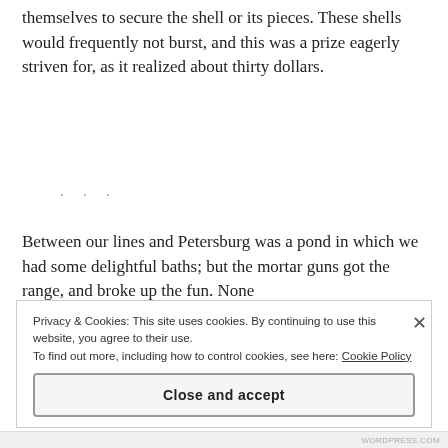themselves to secure the shell or its pieces. These shells would frequently not burst, and this was a prize eagerly striven for, as it realized about thirty dollars.
Between our lines and Petersburg was a pond in which we had some delightful baths; but the mortar guns got the range, and broke up the fun. None
Privacy & Cookies: This site uses cookies. By continuing to use this website, you agree to their use.
To find out more, including how to control cookies, see here: Cookie Policy
[Close and accept]